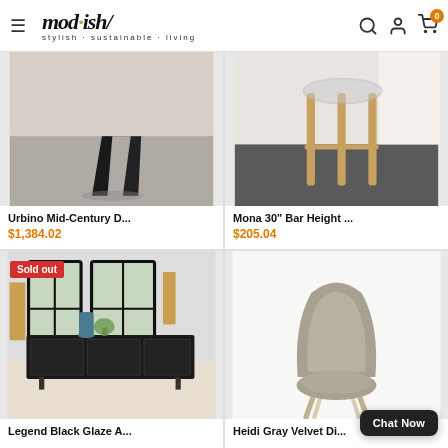mod·ish/ stylish·sustainable·living
[Figure (photo): Urbino Mid-Century dining table base with angular black metal legs on gray carpet]
Urbino Mid-Century D...
$1,384.02
[Figure (photo): Mona 30" Bar Height stool with wooden legs on dark floor]
Mona 30" Bar Height ...
$205.04
[Figure (photo): Legend Black Glaze sideboard with black cabinet and windows in background, Sold out]
Legend Black Glaze A...
[Figure (photo): Heidi Gray Velvet dining chair with beige metal legs on white background]
Heidi Gray Velvet Di...